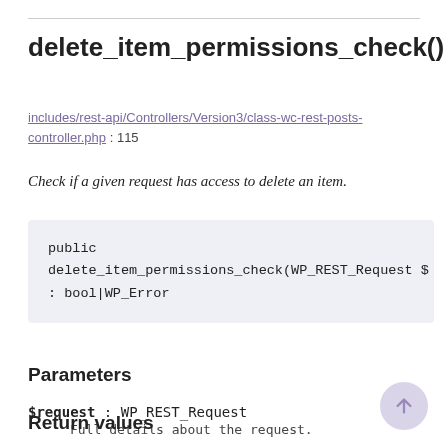delete_item_permissions_check()
includes/rest-api/Controllers/Version3/class-wc-rest-posts-controller.php : 115
Check if a given request has access to delete an item.
public delete_item_permissions_check(WP_REST_Request $
: bool|WP_Error
Parameters
$request : WP_REST_Request
    Full details about the request.
Return values